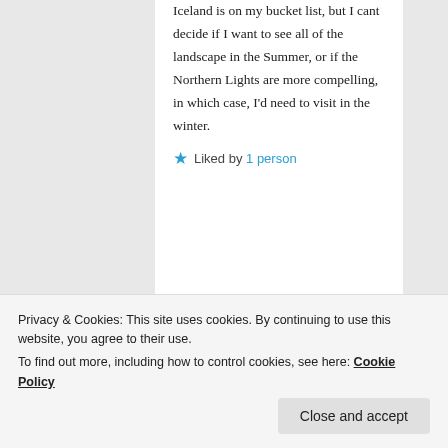Iceland is on my bucket list, but I cant decide if I want to see all of the landscape in the Summer, or if the Northern Lights are more compelling, in which case, I'd need to visit in the winter.
★ Liked by 1 person
Robin S. Kent on August 6, 2017 at 2:08 pm said:
Privacy & Cookies: This site uses cookies. By continuing to use this website, you agree to their use.
To find out more, including how to control cookies, see here: Cookie Policy
Close and accept